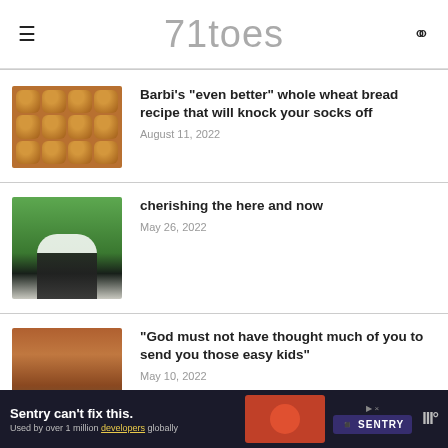71toes
Barbi’s “even better” whole wheat bread recipe that will knock your socks off
August 11, 2022
cherishing the here and now
May 26, 2022
“God must not have thought much of you to send you those easy kids”
May 10, 2022